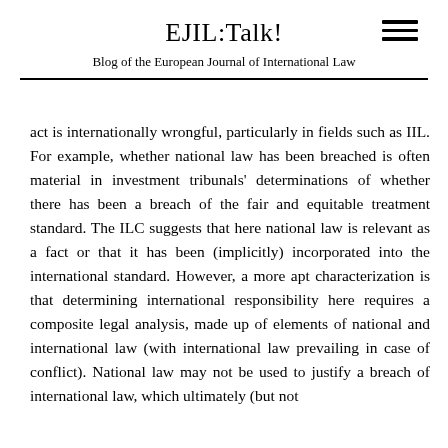EJIL:Talk!
Blog of the European Journal of International Law
act is internationally wrongful, particularly in fields such as IIL. For example, whether national law has been breached is often material in investment tribunals' determinations of whether there has been a breach of the fair and equitable treatment standard. The ILC suggests that here national law is relevant as a fact or that it has been (implicitly) incorporated into the international standard. However, a more apt characterization is that determining international responsibility here requires a composite legal analysis, made up of elements of national and international law (with international law prevailing in case of conflict). National law may not be used to justify a breach of international law, which ultimately (but not